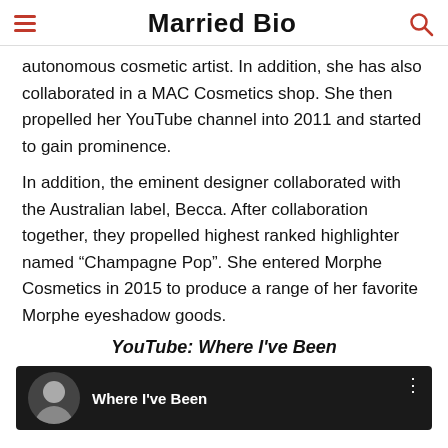Married Bio
autonomous cosmetic artist. In addition, she has also collaborated in a MAC Cosmetics shop. She then propelled her YouTube channel into 2011 and started to gain prominence.
In addition, the eminent designer collaborated with the Australian label, Becca. After collaboration together, they propelled highest ranked highlighter named "Champagne Pop". She entered Morphe Cosmetics in 2015 to produce a range of her favorite Morphe eyeshadow goods.
YouTube: Where I've Been
[Figure (screenshot): YouTube video thumbnail showing a woman and the title 'Where I've Been' on a dark background]